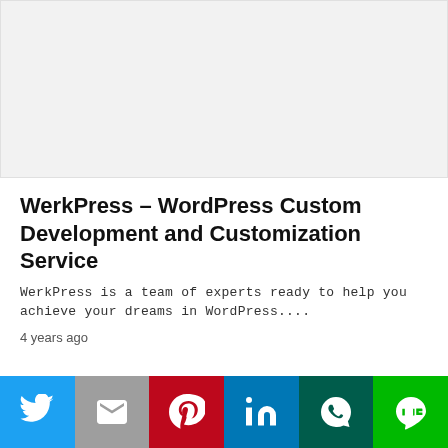[Figure (other): Light gray image placeholder rectangle]
WerkPress – WordPress Custom Development and Customization Service
WerkPress is a team of experts ready to help you achieve your dreams in WordPress....
4 years ago
[Figure (other): Social sharing bar with Twitter, Gmail, Pinterest, LinkedIn, WhatsApp, and LINE buttons]